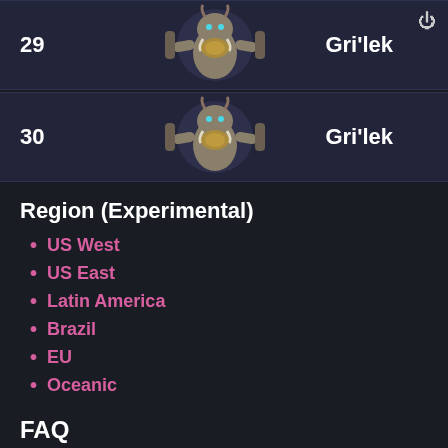[Figure (screenshot): Row 29 entry showing boss number 29 and boss name Gri'lek with a power icon, featuring a game character image in the center]
[Figure (screenshot): Row 30 entry showing boss number 30 and boss name Gri'lek, featuring a game character image in the center]
Region (Experimental)
US West
US East
Latin America
Brazil
EU
Oceanic
FAQ
What is the boss rotation?
Classic Era Edge of Madness bosses rotate every two